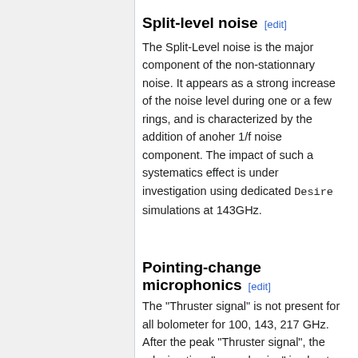Split-level noise [edit]
The Split-Level noise is the major component of the non-stationnary noise. It appears as a strong increase of the noise level during one or a few rings, and is characterized by the addition of anoher 1/f noise component. The impact of such a systematics effect is under investigation using dedicated Desire simulations at 143GHz.
Pointing-change microphonics [edit]
The "Thruster signal" is not present for all bolometer for 100, 143, 217 GHz. After the peak "Thruster signal", the relaxing time "normal noise" is about the